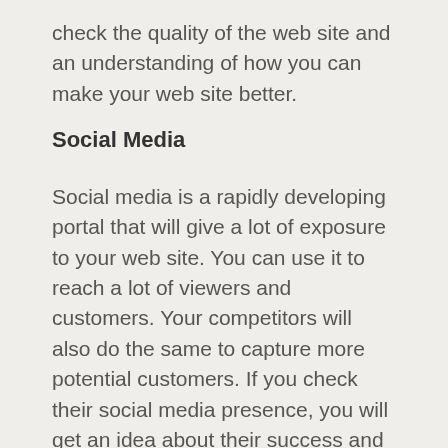check the quality of the web site and an understanding of how you can make your web site better.
Social Media
Social media is a rapidly developing portal that will give a lot of exposure to your web site. You can use it to reach a lot of viewers and customers. Your competitors will also do the same to capture more potential customers. If you check their social media presence, you will get an idea about their success and their reach.
Pay Per Click Advertisements